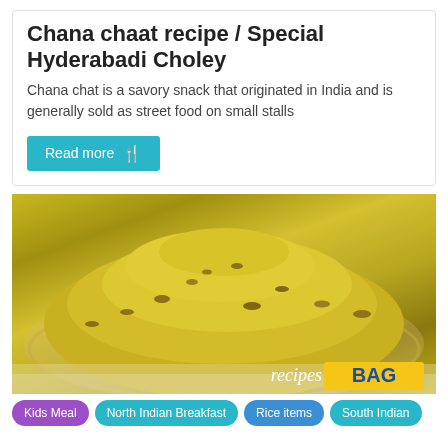Chana chaat recipe / Special Hyderabadi Choley
Chana chat is a savory snack that originated in India and is generally sold as street food on small stalls
Read more
[Figure (photo): A plate of yellow-colored rice or chana dish, served on a decorative plate. Watermark reads 'recipes BAG' in the bottom right corner.]
Kids Meal
North Indian Breakfast
Rice items
South Indian